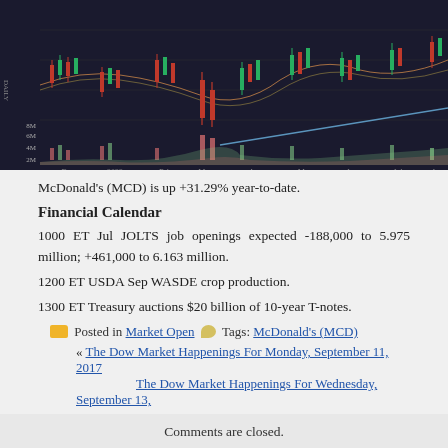[Figure (continuous-plot): Stock chart for McDonald's (MCD) showing daily candlestick price chart with volume bars below. X-axis shows dates from Dec 2021 through Aug 2022. Y-axis shows price levels. A blue diagonal trendline ascends from left to right. Green and red candlesticks visible throughout. Volume bars (pink/green) shown in lower section. Labels: 8M, 6M, 4M, 2M on left side of volume area. Date labels: Dec, 2022, Feb, Mar, Apr, May, Jun, Jul, Aug.]
McDonald's (MCD) is up +31.29% year-to-date.
Financial Calendar
1000 ET Jul JOLTS job openings expected -188,000 to 5.975 million; +461,000 to 6.163 million.
1200 ET USDA Sep WASDE crop production.
1300 ET Treasury auctions $20 billion of 10-year T-notes.
Posted in Market Open   Tags: McDonald's (MCD)
« The Dow Market Happenings For Monday, September 11, 2017
The Dow Market Happenings For Wednesday, September 13,
Both comments and pings are currently closed.
Comments are closed.